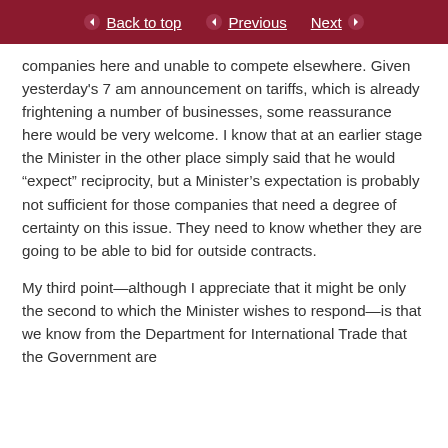Back to top | Previous | Next
companies here and unable to compete elsewhere. Given yesterday's 7 am announcement on tariffs, which is already frightening a number of businesses, some reassurance here would be very welcome. I know that at an earlier stage the Minister in the other place simply said that he would “expect” reciprocity, but a Minister’s expectation is probably not sufficient for those companies that need a degree of certainty on this issue. They need to know whether they are going to be able to bid for outside contracts.
My third point—although I appreciate that it might be only the second to which the Minister wishes to respond—is that we know from the Department for International Trade that the Government are